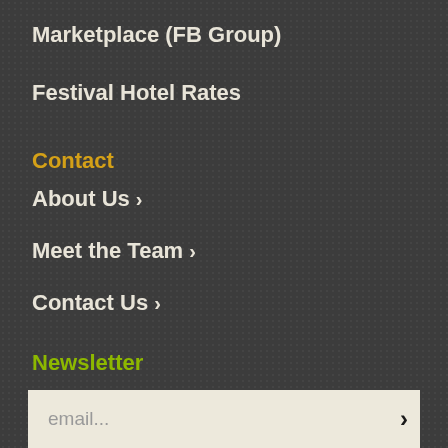Marketplace (FB Group)
Festival Hotel Rates
Contact
About Us >
Meet the Team >
Contact Us >
Newsletter
email...